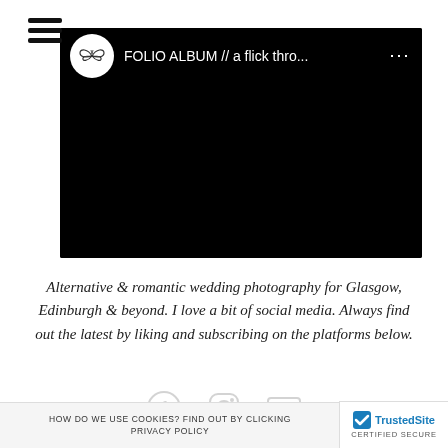[Figure (screenshot): Hamburger menu icon (three horizontal black lines) in top left corner]
[Figure (screenshot): Embedded video player with black background showing channel avatar (butterfly logo), title 'FOLIO ALBUM // a flick thro...' and three-dot menu icon]
Alternative & romantic wedding photography for Glasgow, Edinburgh & beyond. I love a bit of social media. Always find out the latest by liking and subscribing on the platforms below.
[Figure (screenshot): Faded social media icons row]
HOW DO WE USE COOKIES? FIND OUT BY CLICKING PRIVACY POLICY
[Figure (logo): TrustedSite CERTIFIED SECURE badge in bottom right corner]